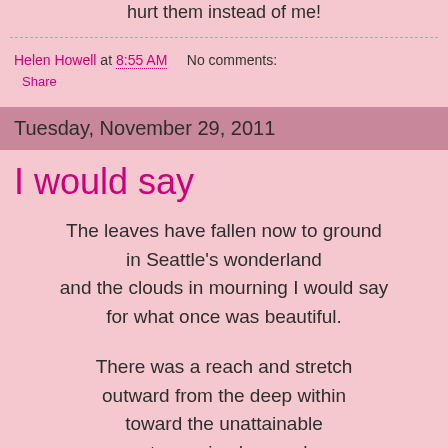hurt them instead of me!
Helen Howell at 8:55 AM   No comments:
Share
Tuesday, November 29, 2011
I would say
The leaves have fallen now to ground
in Seattle's wonderland
and the clouds in mourning I would say
for what once was beautiful.

There was a reach and stretch
outward from the deep within
toward the unattainable
not perceived as such.